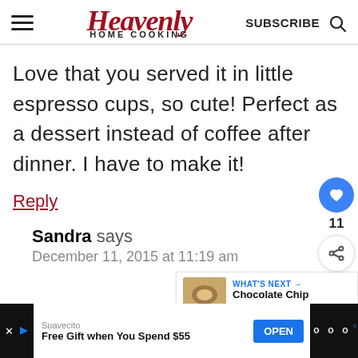Heavenly HOME COOKING — SUBSCRIBE
Love that you served it in little espresso cups, so cute! Perfect as a dessert instead of coffee after dinner. I have to make it!
Reply
Sandra says
December 11, 2015 at 11:19 am
WHAT'S NEXT → Chocolate Chip Baked...
Suavecito
Free Gift when You Spend $55
OPEN